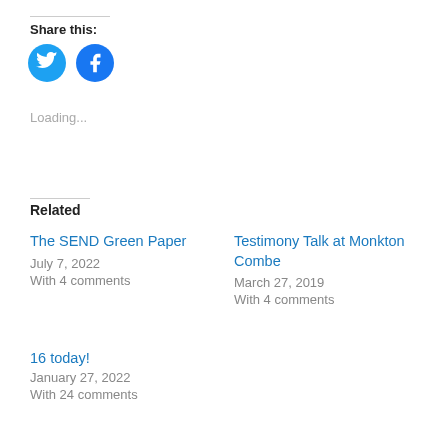Share this:
[Figure (illustration): Two circular social media share buttons: Twitter (cyan/blue bird icon) and Facebook (blue f icon)]
Loading...
Related
The SEND Green Paper
July 7, 2022
With 4 comments
Testimony Talk at Monkton Combe
March 27, 2019
With 4 comments
16 today!
January 27, 2022
With 24 comments